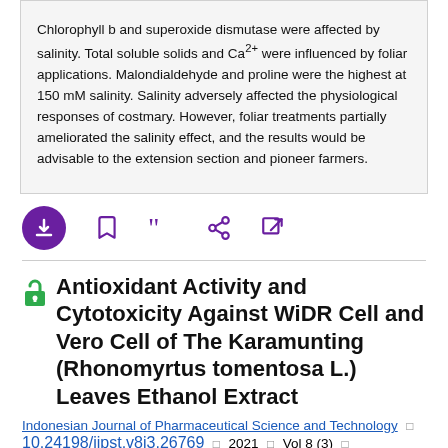Chlorophyll b and superoxide dismutase were affected by salinity. Total soluble solids and Ca2+ were influenced by foliar applications. Malondialdehyde and proline were the highest at 150 mM salinity. Salinity adversely affected the physiological responses of costmary. However, foliar treatments partially ameliorated the salinity effect, and the results would be advisable to the extension section and pioneer farmers.
[Figure (other): Action bar with icons: download (purple circle), bookmark, cite, share, external link]
Antioxidant Activity and Cytotoxicity Against WiDR Cell and Vero Cell of The Karamunting (Rhonomyrtus tomentosa L.) Leaves Ethanol Extract
Indonesian Journal of Pharmaceutical Science and Technology □ 10.24198/ijpst.v8i3.26769 □ 2021 □ Vol 8 (3) □